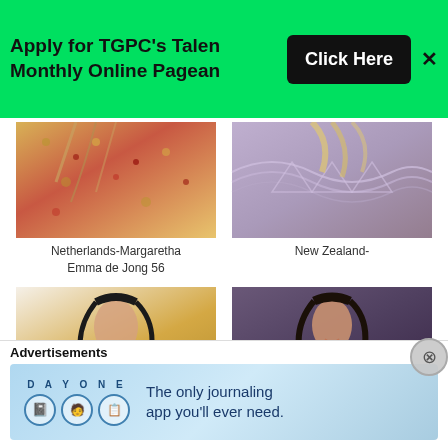Apply for TGPC's Talent Monthly Online Pageant — Click Here
[Figure (photo): Partial photo of person in gold/red embroidered outfit (Netherlands entry)]
Netherlands-Margaretha Emma de Jong 56
[Figure (photo): Partial photo of person in purple/lavender lace top (New Zealand entry)]
New Zealand-
[Figure (photo): Photo of woman in gold sequin Indian outfit, seated pose]
[Figure (photo): Photo of woman in floral blue shirt and dark skirt, smiling]
Advertisements
[Figure (infographic): DAY ONE journaling app advertisement. Text: 'The only journaling app you'll ever need.']